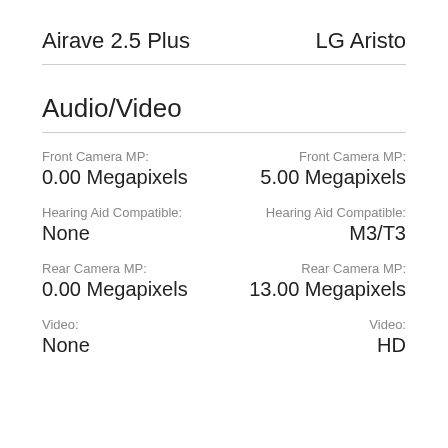Airave 2.5 Plus
LG Aristo
Audio/Video
Front Camera MP:
0.00 Megapixels
Front Camera MP:
5.00 Megapixels
Hearing Aid Compatible:
None
Hearing Aid Compatible:
M3/T3
Rear Camera MP:
0.00 Megapixels
Rear Camera MP:
13.00 Megapixels
Video:
None
Video:
HD